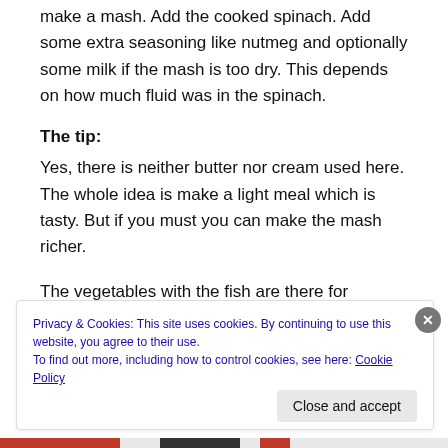make a mash. Add the cooked spinach. Add some extra seasoning like nutmeg and optionally some milk if the mash is too dry. This depends on how much fluid was in the spinach.
The tip:
Yes, there is neither butter nor cream used here. The whole idea is make a light meal which is tasty. But if you must you can make the mash richer.
The vegetables with the fish are there for seasoning
Privacy & Cookies: This site uses cookies. By continuing to use this website, you agree to their use.
To find out more, including how to control cookies, see here: Cookie Policy
Close and accept